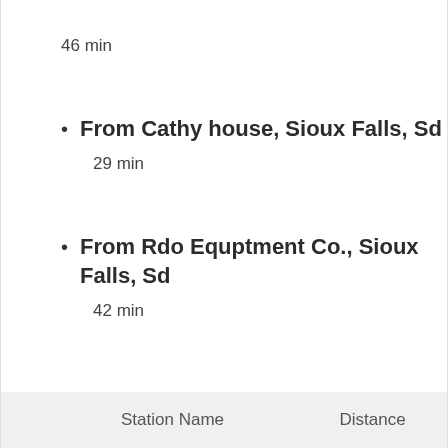46 min
From Cathy house, Sioux Falls, Sd
29 min
From Rdo Equptment Co., Sioux Falls, Sd
42 min
| Station Name | Distance |
| --- | --- |